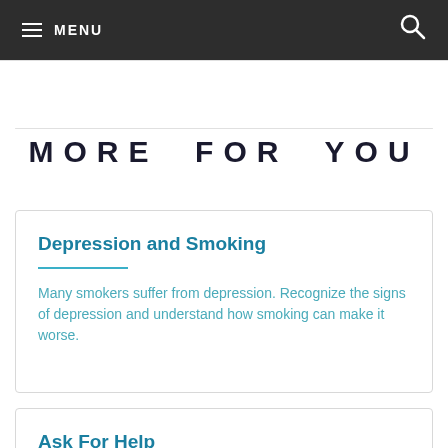MENU
MORE FOR YOU
Depression and Smoking
Many smokers suffer from depression. Recognize the signs of depression and understand how smoking can make it worse.
Ask For Help